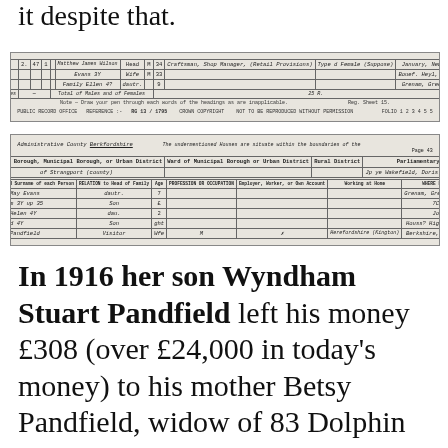it despite that.
[Figure (other): Scanned census record image 1 - Public Record Office Reference RG 13/1795, Crown Copyright]
[Figure (other): Scanned census record image 2 - 1901 census showing household with Alice May Evans, William, Mabel, Bernard, and Hanni Pandfield, Berkshire]
In 1916 her son Wyndham Stuart Pandfield left his money £308 (over £24,000 in today's money) to his mother Betsy Pandfield, widow of 83 Dolphin